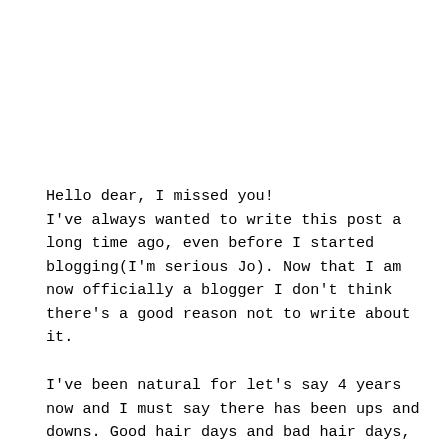Hello dear, I missed you!
I've always wanted to write this post a long time ago, even before I started blogging(I'm serious Jo). Now that I am now officially a blogger I don't think there's a good reason not to write about it.

I've been natural for let's say 4 years now and I must say there has been ups and downs. Good hair days and bad hair days,  sometimes it seems I'm getting it right and other days I feel like embracing the relaxer. The most annoying thing is when you search the internet for natural hair tips; it just seems